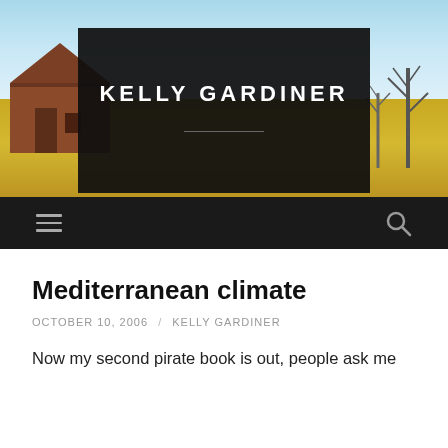[Figure (photo): Header photo of a rural landscape with golden grassy field, a barn on the left, bare trees on the right, and a blue sky. A dark box with 'KELLY GARDINER' text is overlaid in the center.]
KELLY GARDINER
Mediterranean climate
OCTOBER 10, 2006 / KELLY GARDINER
Now my second pirate book is out, people ask me